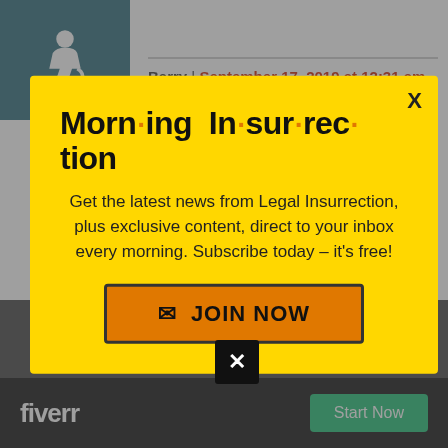[Figure (screenshot): Accessibility icon (wheelchair user) in teal box]
Barry | September 17, 2019 at 12:31 am
Bless your family and Mandy. I'll be
[Figure (screenshot): Morning Insurrection newsletter signup popup modal with yellow background. Title: Morn·ing In·sur·rec·tion. Body: Get the latest news from Legal Insurrection, plus exclusive content, direct to your inbox every morning. Subscribe today – it's free! Button: JOIN NOW]
toward Mandy and her family. Thank you also for the updates on how Mandy
[Figure (logo): Fiverr logo with Start Now button on dark background]